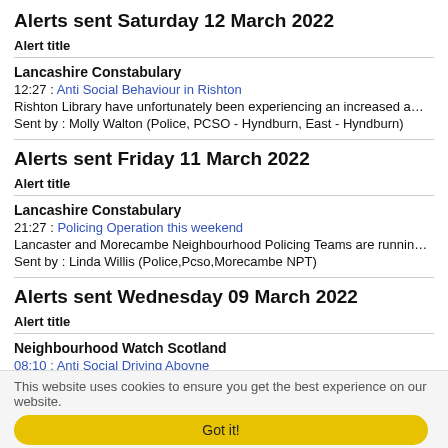Alerts sent Saturday 12 March 2022
Alert title
Lancashire Constabulary
12:27 : Anti Social Behaviour in Rishton
Rishton Library have unfortunately been experiencing an increased amount of AS
Sent by : Molly Walton (Police, PCSO - Hyndburn, East - Hyndburn)
Alerts sent Friday 11 March 2022
Alert title
Lancashire Constabulary
21:27 : Policing Operation this weekend
Lancaster and Morecambe Neighbourhood Policing Teams are running a Policing
Sent by : Linda Willis (Police,Pcso,Morecambe NPT)
Alerts sent Wednesday 09 March 2022
Alert title
Neighbourhood Watch Scotland
08:10 : Anti Social Driving Aboyne
This website uses cookies to ensure you get the best experience on our website.